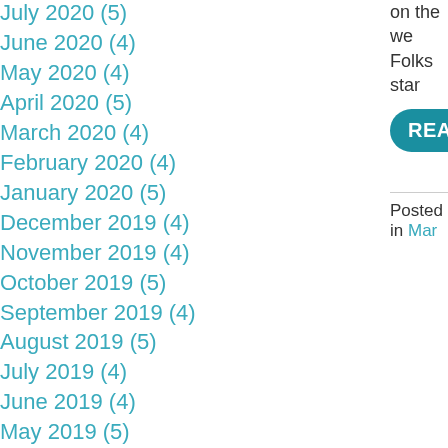July 2020 (5)
June 2020 (4)
May 2020 (4)
April 2020 (5)
March 2020 (4)
February 2020 (4)
January 2020 (5)
December 2019 (4)
November 2019 (4)
October 2019 (5)
September 2019 (4)
August 2019 (5)
July 2019 (4)
June 2019 (4)
May 2019 (5)
April 2019 (4)
on the we... Folks star...
READ P...
Posted in Mar...